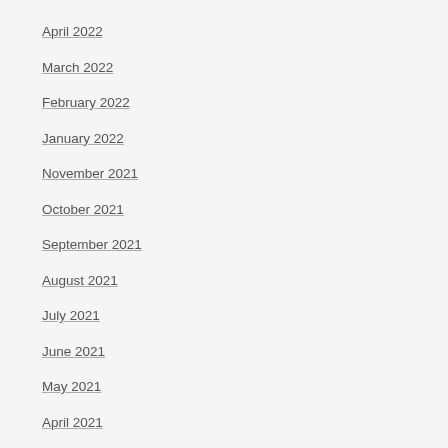April 2022
March 2022
February 2022
January 2022
November 2021
October 2021
September 2021
August 2021
July 2021
June 2021
May 2021
April 2021
March 2021
February 2021